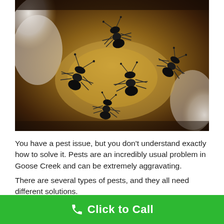[Figure (photo): Close-up macro photograph of several black ants on a white/tan surface, likely honeycomb or similar structure]
You have a pest issue, but you don't understand exactly how to solve it. Pests are an incredibly usual problem in Goose Creek and can be extremely aggravating.
There are several types of pests, and they all need different solutions.
Pest control in Goose Creek, SC is the solution for your pest
Click to Call